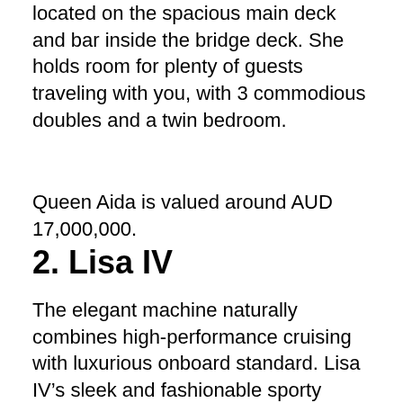located on the spacious main deck and bar inside the bridge deck. She holds room for plenty of guests traveling with you, with 3 commodious doubles and a twin bedroom.
Queen Aida is valued around AUD 17,000,000.
2. Lisa IV
The elegant machine naturally combines high-performance cruising with luxurious onboard standard. Lisa IV’s sleek and fashionable sporty layout is an excellent choice for traveling across the globe at 28 knots. Sliding doors on the main deck welcomes up to 45 guests for a party hosted on the generously sized aft deck.
With glamorous interior, Lisa IV has a cozy private